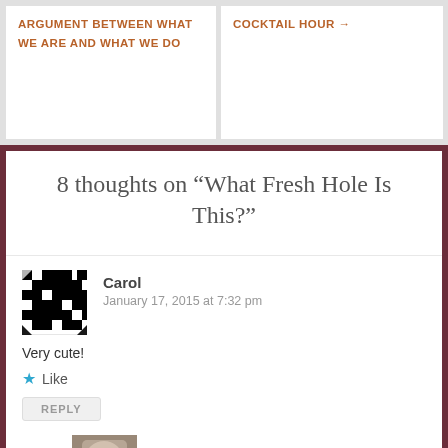ARGUMENT BETWEEN WHAT WE ARE AND WHAT WE DO
COCKTAIL HOUR →
8 thoughts on “What Fresh Hole Is This?”
Carol
January 17, 2015 at 7:32 pm
Very cute!
Like
REPLY
mostlybeautifulthings